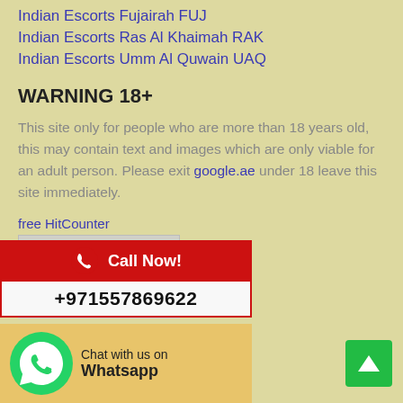Indian Escorts Fujairah FUJ
Indian Escorts Ras Al Khaimah RAK
Indian Escorts Umm Al Quwain UAQ
WARNING 18+
This site only for people who are more than 18 years old, this may contain text and images which are only viable for an adult person. Please exit google.ae under 18 leave this site immediately.
free HitCounter
| Visitor Counter |
| --- |
| Today | 7 |
| Yesterday | 3 |
| All | 29041 |
[Figure (infographic): Call Now banner with phone icon, red background, and phone number +971557869622]
[Figure (infographic): WhatsApp chat banner with green WhatsApp icon and text Chat with us on Whatsapp]
[Figure (infographic): Green scroll-to-top button with upward arrow]